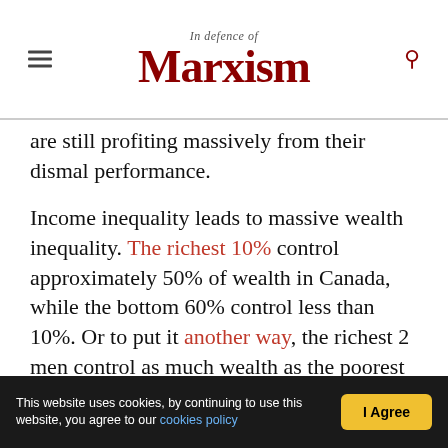In defence of Marxism
are still profiting massively from their dismal performance.
Income inequality leads to massive wealth inequality. The richest 10% control approximately 50% of wealth in Canada, while the bottom 60% control less than 10%. Or to put it another way, the richest 2 men control as much wealth as the poorest 11-million Canadians. Between 2005 and 2015 the bottom 10% got 10.5% poorer.
The scandal of low pay and inequality was recently highlighted by the miserly actions of Tim Hortons
This website uses cookies, by continuing to use this website, you agree to our cookies policy  |  I Agree